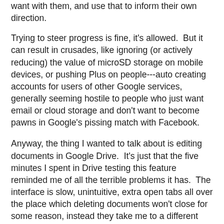want with them, and use that to inform their own direction.
Trying to steer progress is fine, it's allowed.  But it can result in crusades, like ignoring (or actively reducing) the value of microSD storage on mobile devices, or pushing Plus on people---auto creating accounts for users of other Google services, generally seeming hostile to people who just want email or cloud storage and don't want to become pawns in Google's pissing match with Facebook.
Anyway, the thing I wanted to talk about is editing documents in Google Drive.  It's just that the five minutes I spent in Drive testing this feature reminded me of all the terrible problems it has.  The interface is slow, unintuitive, extra open tabs all over the place which deleting documents won't close for some reason, instead they take me to a different dashboard than the one I started from.  Again, I digress.
The spelling/grammar checking is actually pretty good. Good enough to see the error in "Why don't you tell hi that?" (the correct version would be "Why don't you tell him that") That won't pop up as wrong in any spell checkers, and very few